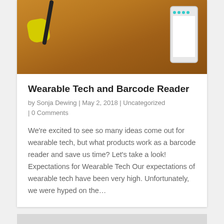[Figure (photo): Photo of wearable tech gadgets on a wooden table: yellow geometric object, earphones/headset, and a white smartphone showing a simple app interface with teal dots.]
Wearable Tech and Barcode Reader
by Sonja Dewing | May 2, 2018 | Uncategorized | 0 Comments
We're excited to see so many ideas come out for wearable tech, but what products work as a barcode reader and save us time? Let's take a look! Expectations for Wearable Tech Our expectations of wearable tech have been very high. Unfortunately, we were hyped on the...